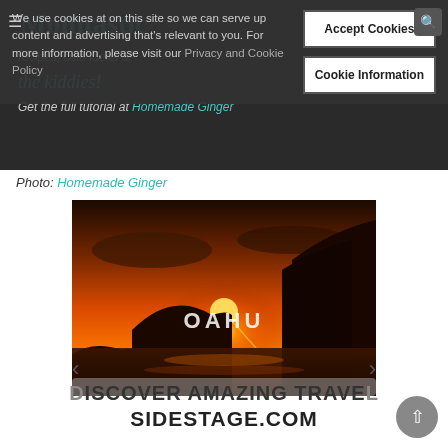We use cookies at on this site so we can serve up content and advertising that's relevant to you. For more information, please visit our Privacy and Cookie Policy
Accept Cookies
Cookie Information
Get the full tutorial at Homemade Ginger
Photo: Homemade Ginger
[Figure (photo): Sunset over the ocean with rocky cliffs and the text OAHU overlaid in the center]
DISCOVER AMAZING TRAVEL SIDESTAGE.COM